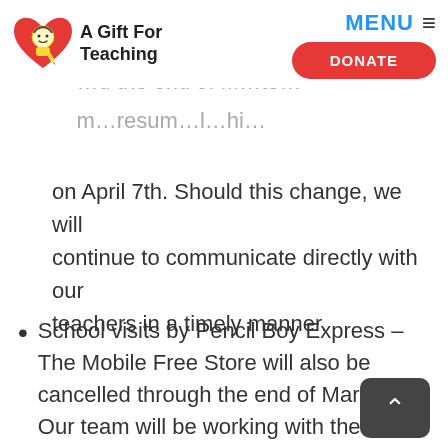[Figure (logo): A Gift For Teaching logo with heart and cartoon character]
MENU ≡
DONATE
The Free Teacher Supply Store will also be … on April 7th. Should this change, we will continue to communicate directly with our teachers in a timely manner.
School visits by Pencil Boy Express – The Mobile Free Store will also be cancelled through the end of March. Our team will be working with the host schools to determine the feasibility of future visits for the remainder of the school yea…